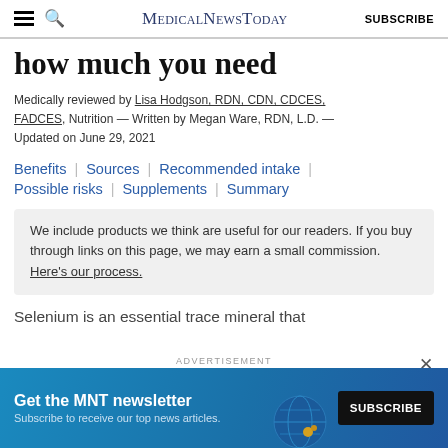MedicalNewsToday | SUBSCRIBE
how much you need
Medically reviewed by Lisa Hodgson, RDN, CDN, CDCES, FADCES, Nutrition — Written by Megan Ware, RDN, L.D. — Updated on June 29, 2021
Benefits | Sources | Recommended intake | Possible risks | Supplements | Summary
We include products we think are useful for our readers. If you buy through links on this page, we may earn a small commission. Here's our process.
Selenium is an essential trace mineral that
[Figure (screenshot): Advertisement banner for MNT newsletter with 'Get the MNT newsletter' headline and SUBSCRIBE button]